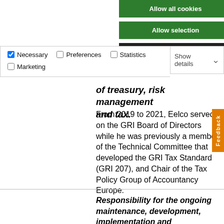Allow all cookies
Allow selection
Use necessary cookies only
Necessary  Preferences  Statistics  Marketing  Show details
of treasury, risk management and tax.
From 2019 to 2021, Eelco served on the GRI Board of Directors while he was previously a member of the Technical Committee that developed the GRI Tax Standard (GRI 207), and Chair of the Tax Policy Group of Accountancy Europe.
Responsibility for the ongoing maintenance, development, implementation and enhancement of GRI's Sustainability Reporting Framework...